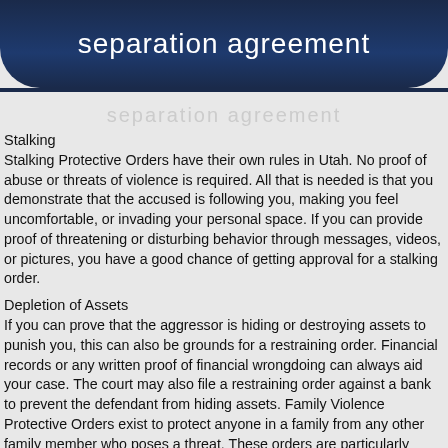separation agreement
Stalking
Stalking Protective Orders have their own rules in Utah. No proof of abuse or threats of violence is required. All that is needed is that you demonstrate that the accused is following you, making you feel uncomfortable, or invading your personal space. If you can provide proof of threatening or disturbing behavior through messages, videos, or pictures, you have a good chance of getting approval for a stalking order.
Depletion of Assets
If you can prove that the aggressor is hiding or destroying assets to punish you, this can also be grounds for a restraining order. Financial records or any written proof of financial wrongdoing can always aid your case. The court may also file a restraining order against a bank to prevent the defendant from hiding assets. Family Violence Protective Orders exist to protect anyone in a family from any other family member who poses a threat. These orders are particularly useful because they mandate that the defendant immediately vacate the family home. Temporary Protective Orders (TPO) typically last for 30 days. A judge will schedule a court date before the TPO expires where the victim can